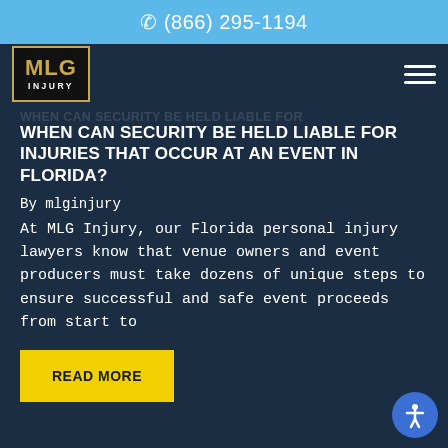☏ (866) 295-1194
[Figure (logo): MLG Injury law firm logo — gold bordered dark box with gold 'MLG' text and white 'INJURY' text below]
WHEN CAN SECURITY BE HELD LIABLE FOR INJURIES THAT OCCUR AT AN EVENT IN FLORIDA?
By mlginjury
At MLG Injury, our Florida personal injury lawyers know that venue owners and event producers must take dozens of unique steps to ensure successful and safe event proceeds from start to
READ MORE